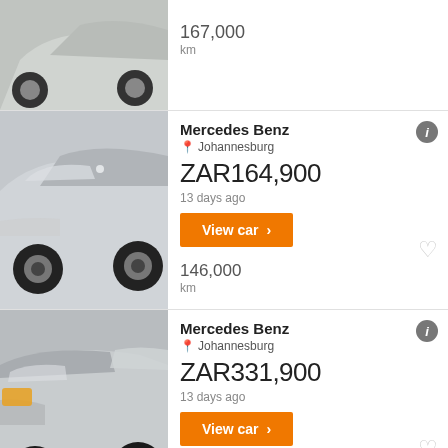[Figure (photo): Partial view of a silver car from rear angle (cropped listing)]
167,000
km
[Figure (photo): Silver Mercedes Benz C-Class front three-quarter view]
Mercedes Benz
Johannesburg
ZAR164,900
13 days ago
View car >
146,000
km
[Figure (photo): Silver Mercedes Benz front angle view with headlights visible]
Mercedes Benz
Johannesburg
ZAR331,900
13 days ago
View car >
67,993
km
[Figure (photo): Silver Mercedes Benz partial view (bottom of page, cropped)]
Mercedes Benz
Johannesburg